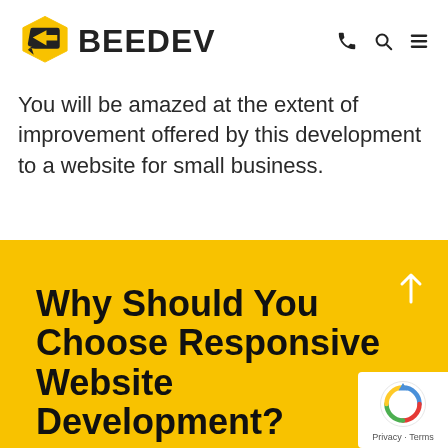BEEDEV
You will be amazed at the extent of improvement offered by this development to a website for small business.
Why Should You Choose Responsive Website Development?